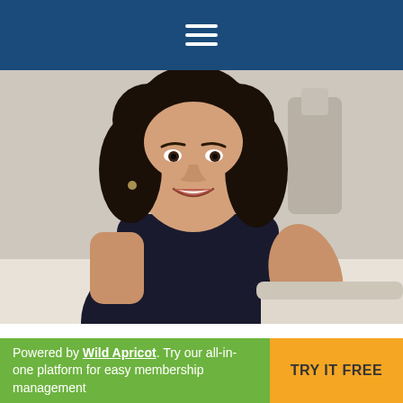Navigation menu (hamburger icon)
[Figure (photo): Portrait photograph of a woman with curly dark hair, smiling, wearing a black sleeveless top, seated on a light-colored sofa]
Misha Ketchel: The editor of The Conversation, which
Powered by Wild Apricot. Try our all-in-one platform for easy membership management   TRY IT FREE